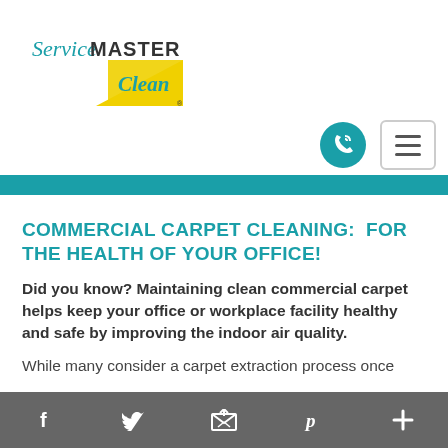[Figure (logo): ServiceMaster Clean logo with teal/green italic text and yellow triangle shape]
[Figure (other): Teal circular phone callback button and hamburger menu button]
COMMERCIAL CARPET CLEANING:  FOR THE HEALTH OF YOUR OFFICE!
Did you know? Maintaining clean commercial carpet helps keep your office or workplace facility healthy and safe by improving the indoor air quality.
While many consider a carpet extraction process once
Facebook, Twitter, Email, Pinterest, More (social sharing bar)